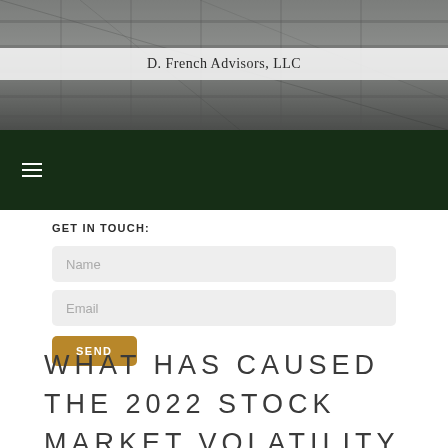[Figure (photo): Dark architectural/building exterior photo used as website header background]
D. French Advisors, LLC
[Figure (other): Dark green navigation bar with hamburger menu icon]
GET IN TOUCH:
Name
Email
SEND
WHAT HAS CAUSED THE 2022 STOCK MARKET VOLATILITY